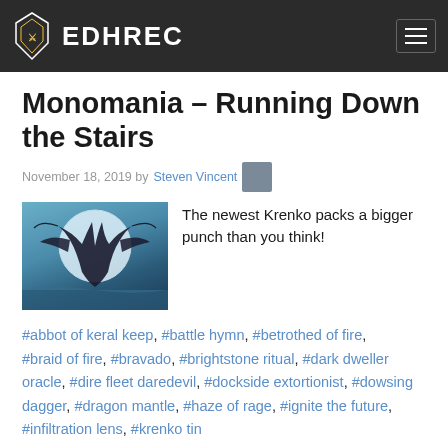EDHREC
Monomania – Running Down the Stairs
November 18, 2019 by Steven Vincent
[Figure (illustration): Fantasy illustration of a dark dragon-like creature against a large moon backdrop]
The newest Krenko packs a bigger punch than you think!
#abbot of keral keep, #battle hymn, #betrothed of fire, #braid of fire, #bravado, #brightstone ritual, #dark dweller oracle, #dire fleet daredevil, #dockside extortionist, #dowsing dagger, #dragon mantle, #haze of rage, #ignite the future, #infiltration lens, #krenko tin